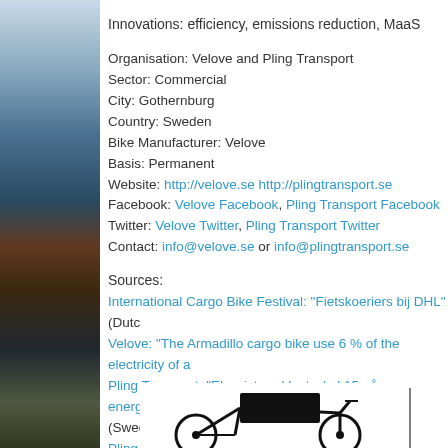Innovations: efficiency, emissions reduction, MaaS
Organisation: Velove and Pling Transport
Sector: Commercial
City: Gothernburg
Country: Sweden
Bike Manufacturer: Velove
Basis: Permanent
Website: http://velove.se http://plingtransport.se
Facebook: Velove Facebook, Pling Transport Facebook
Twitter: Velove Twitter, Pling Transport Twitter
Contact: info@velove.se or info@plingtransport.se
Sources:
International Cargo Bike Festival: "Fietskoeriers bij DHL" (Dutch
Velove: "The Armadillo cargo bike use 6 % of the electricity of a
Pling Transport: "Elassisterad lastcykel 15 gånger energieffektiv
(Swedish)
Pling Transport - Youtube: "Cargo bikes replacing van and truck
subtitled)
[Figure (illustration): Cargo bike illustration (black silhouette of a cargo bicycle) at bottom of page]